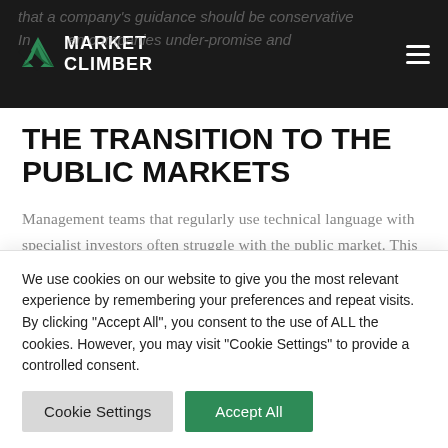Market Climber — navigation header with logo and hamburger menu
THE TRANSITION TO THE PUBLIC MARKETS
Management teams that regularly use technical language with specialist investors often struggle with the public market. This includes private companies
We use cookies on our website to give you the most relevant experience by remembering your preferences and repeat visits. By clicking "Accept All", you consent to the use of ALL the cookies. However, you may visit "Cookie Settings" to provide a controlled consent.